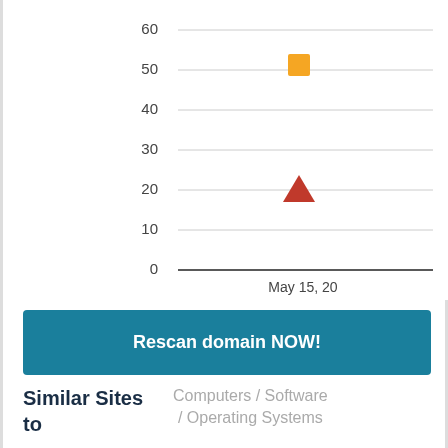[Figure (scatter-plot): ]
Rescan domain NOW!
Similar Sites to
Computers / Software / Operating Systems